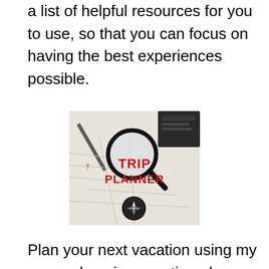a list of helpful resources for you to use, so that you can focus on having the best experiences possible.
[Figure (photo): Trip Planner book cover showing a magnifying glass, compass, maps, passport, and pen with bold red text reading TRIP PLANNER]
Plan your next vacation using my comprehensive vacation planner.  From the first step of choosing where to go to the final step of making sure you have your passport